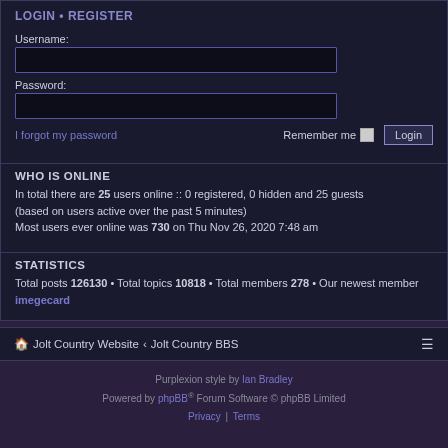LOGIN • REGISTER
Username:
Password:
I forgot my password   Remember me  Login
WHO IS ONLINE
In total there are 25 users online :: 0 registered, 0 hidden and 25 guests (based on users active over the past 5 minutes) Most users ever online was 730 on Thu Nov 26, 2020 7:48 am
STATISTICS
Total posts 126130 • Total topics 10818 • Total members 278 • Our newest member imegecard
🏠 Jolt Country Website ‹ Jolt Country BBS
Purplexion style by Ian Bradley
Powered by phpBB® Forum Software © phpBB Limited
Privacy | Terms